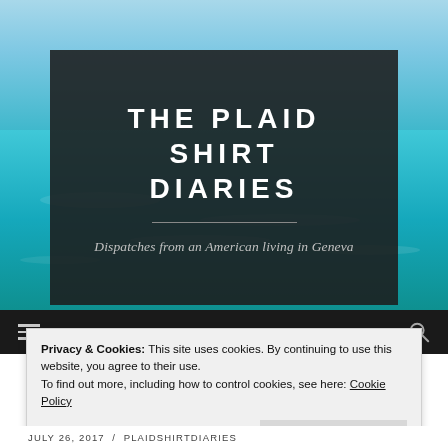[Figure (photo): Ocean/beach background with blue-green turquoise water]
THE PLAID SHIRT DIARIES
Dispatches from an American living in Geneva
Privacy & Cookies: This site uses cookies. By continuing to use this website, you agree to their use.
To find out more, including how to control cookies, see here: Cookie Policy
Close and accept
JULY 26, 2017 / PLAIDSHIRTDIARIES